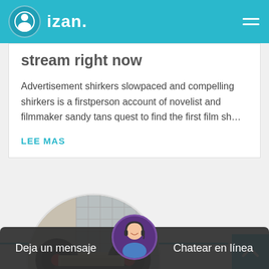izan.
stream right now
Advertisement shirkers slowpaced and compelling shirkers is a firstperson account of novelist and filmmaker sandy tans quest to find the first film sh…
LEE MAS
[Figure (photo): Circular cropped photo of industrial jaw crusher machinery with black flywheels and red-centered wheels, cream-colored body, in an industrial setting]
[Figure (photo): Customer service avatar - woman with headset smiling]